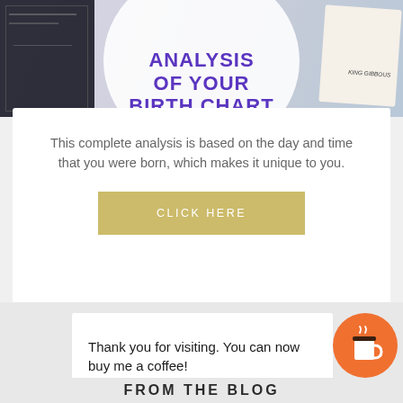[Figure (illustration): Banner image showing astrology/tarot themed photo with dark tarot cards on the left, moon phase card on the right, and a circular white overlay in the center with bold purple text reading 'ANALYSIS OF YOUR BIRTH CHART']
This complete analysis is based on the day and time that you were born, which makes it unique to you.
CLICK HERE
Thank you for visiting. You can now buy me a coffee!
FROM THE BLOG